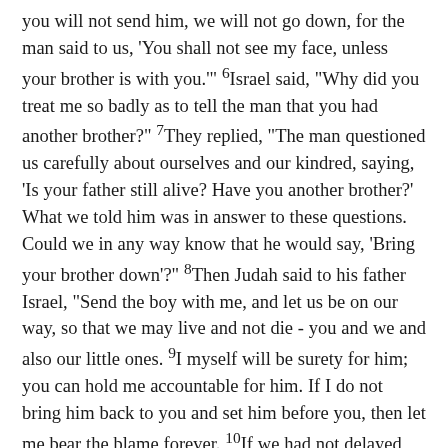you will not send him, we will not go down, for the man said to us, 'You shall not see my face, unless your brother is with you.'" 6Israel said, "Why did you treat me so badly as to tell the man that you had another brother?" 7They replied, "The man questioned us carefully about ourselves and our kindred, saying, 'Is your father still alive? Have you another brother?' What we told him was in answer to these questions. Could we in any way know that he would say, 'Bring your brother down'?" 8Then Judah said to his father Israel, "Send the boy with me, and let us be on our way, so that we may live and not die - you and we and also our little ones. 9I myself will be surety for him; you can hold me accountable for him. If I do not bring him back to you and set him before you, then let me bear the blame forever. 10If we had not delayed, we would now have returned twice."
11Then their father Israel said to them, "If it must be so, then do this: take some of the choice fruits of the land in your bags, and carry them down as a present to the man - a little balm and a